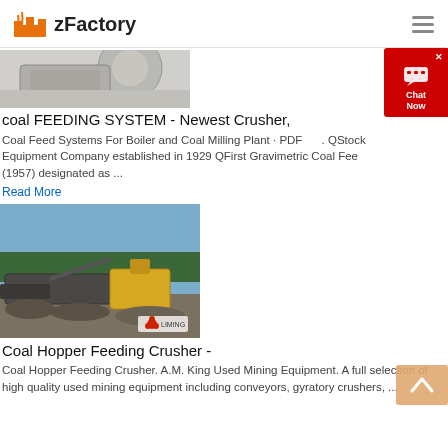zFactory
[Figure (photo): Partial view of a jaw crusher machine, grey/white industrial equipment]
coal FEEDING SYSTEM - Newest Crusher,
Coal Feed Systems For Boiler and Coal Milling Plant · PDF      . QStock Equipment Company established in 1929 QFirst Gravimetric Coal Fee (1957) designated as ...
Read More
[Figure (photo): Outdoor quarry/mining site with yellow and grey heavy equipment crushers and loaders, trees in background, blue sky. Liming brand logo visible at bottom right of image.]
Coal Hopper Feeding Crusher -
Coal Hopper Feeding Crusher. A.M. King Used Mining Equipment. A full selection of high quality used mining equipment including conveyors, gyratory crushers, ...